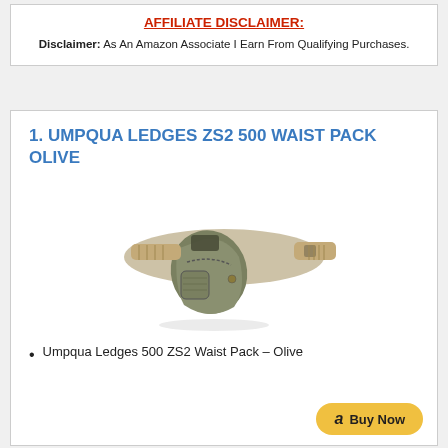AFFILIATE DISCLAIMER:
Disclaimer: As An Amazon Associate I Earn From Qualifying Purchases.
1. UMPQUA LEDGES ZS2 500 WAIST PACK OLIVE
[Figure (photo): Photo of the Umpqua Ledges ZS2 500 Waist Pack in olive/tan color, shown as a waist pack with belt and zippered pouch.]
Umpqua Ledges 500 ZS2 Waist Pack – Olive